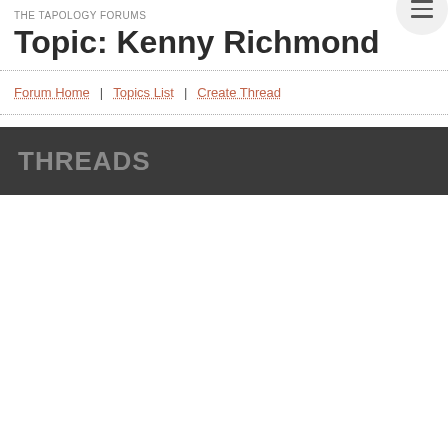THE TAPOLOGY FORUMS
Topic: Kenny Richmond
Forum Home | Topics List | Create Thread
THREADS